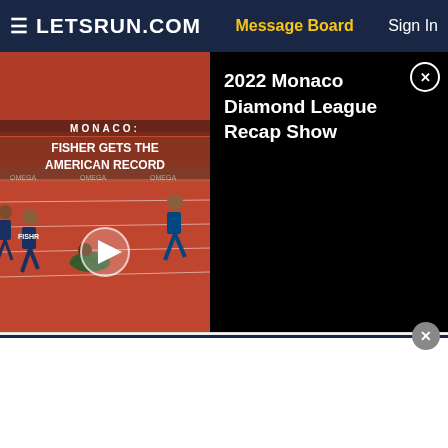≡ LETSRUN.COM | Message Board | Sign In
[Figure (screenshot): Video thumbnail showing Monaco Diamond League track race with text 'MONACO: FISHER GETS THE AMERICAN RECORD' and a play button overlay]
2022 Monaco Diamond League Recap Show
[Figure (other): White/blank advertisement area at the bottom of the page with a close button]